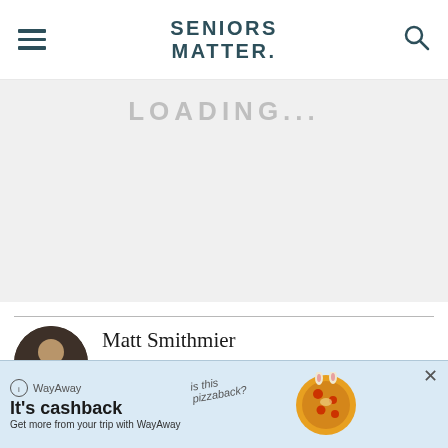SENIORS MATTER.
[Figure (other): Gray advertisement placeholder area below navigation header]
Matt Smithmier
Serving as editor-in-chief for SeniorsMatter, Matt brings more than 30 years of experience writing and reporting for print and...
[Figure (other): WayAway advertisement banner: It's cashback - Get more from your trip with WayAway, with pizza illustration]